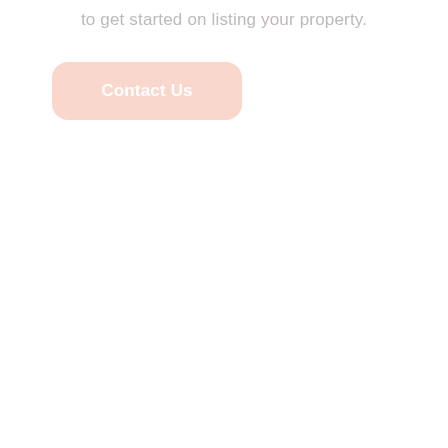to get started on listing your property.
Contact Us